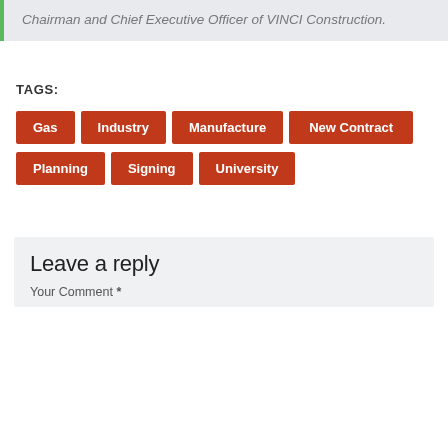Chairman and Chief Executive Officer of VINCI Construction.
TAGS: Gas | Industry | Manufacture | New Contract | Planning | Signing | University
Leave a reply
Your Comment *